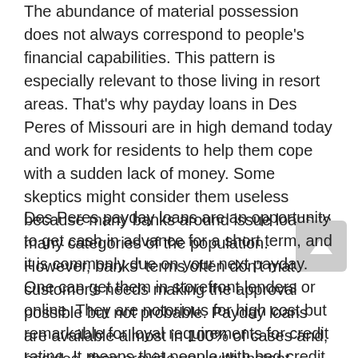The abundance of material possession does not always correspond to people's financial capabilities. This pattern is especially relevant to those living in resort areas. That's why payday loans in Des Peres of Missouri are in high demand today and work for residents to help them cope with a sudden lack of money. Some skeptics might consider them useless because many banks around issue loans to many categories of the population. However, banks' terms often don't match customer's needs making the approval possible but not probable. Payday loans are available almost in 100% of cases and, besides, they provide you with instant money.
Des Peres payday loans are an opportunity to get cash in advance for a short term, and it is commonly due on your next payday. One can get them in storefront lenders or online. They are notorious for high cost but remarkable for loyal requirements for credit rating. It means that people with bad credit can still count on financial help. Des Peres payday loans demand no collateral. The process of